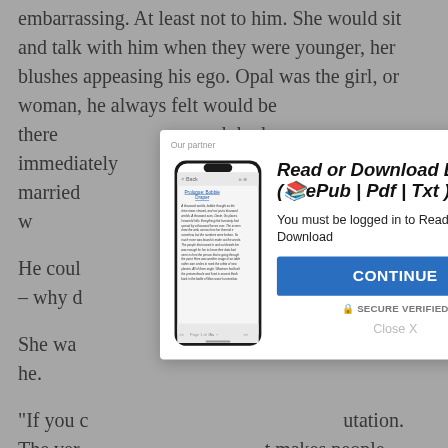embarrassing. At least not to him. She would sit and talk with him when they were younger, her blushes appeasing his ego. Opal was the girl, or woman, he always felt would be there... which had immediately... she married... sweet kisses w... walk into a room
[Figure (screenshot): A modal dialog overlay on a webpage showing a phone mockup with a book reading app, and a call-to-action to Read or Download Book (ePub | Pdf | Txt). Includes a CONTINUE button and SECURE VERIFIED label.]
He could... ost was – why d...
She wa... er than he.
"If you c... utation. The ver... t makes people t... d said cutting i...
"I'm going to marry her. I promised her."
"Good. I want to know, and as my friend you better not